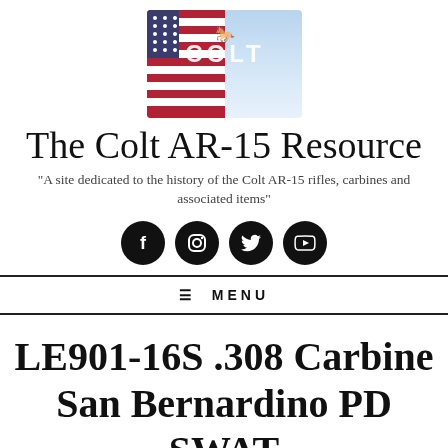[Figure (logo): Colt logo with American flag and blue sky background, showing 'COLT' branding]
The Colt AR-15 Resource
"A site dedicated to the history of the Colt AR-15 rifles, carbines and associated items"
[Figure (infographic): Four social media icons: Facebook, Instagram, Twitter, YouTube — black circles with white icons]
≡ MENU
LE901-16S .308 Carbine San Bernardino PD SWAT